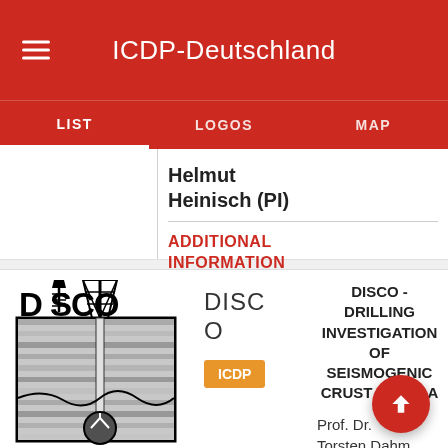ICDP-Deutschland
LIST | LOGOS | MAP
Helmut Heinisch (PI)
ADDITIONAL INFORMATION
[Figure (logo): DISCO logo - black and white drilling diagram logo with text DISCO]
DISCO
ICDP
DISCO - DRILLING INVESTIGATION OF SEISMOGENIC CRUST IN OKLA...
Prof. Dr. Torsten Dahm